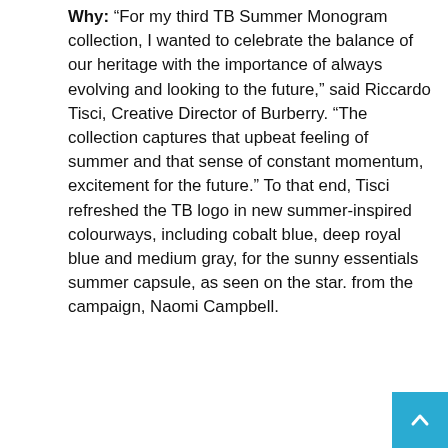Why: “For my third TB Summer Monogram collection, I wanted to celebrate the balance of our heritage with the importance of always evolving and looking to the future,” said Riccardo Tisci, Creative Director of Burberry. “The collection captures that upbeat feeling of summer and that sense of constant momentum, excitement for the future.” To that end, Tisci refreshed the TB logo in new summer-inspired colourways, including cobalt blue, deep royal blue and medium gray, for the sunny essentials summer capsule, as seen on the star. from the campaign, Naomi Campbell.
When: Available from July 16 in selected stores and online
Related: Small Bags Are Here to Stay: Burberry Launches Olympia Bag
[Figure (photo): Purple/violet image block at the bottom of the page, partially visible]